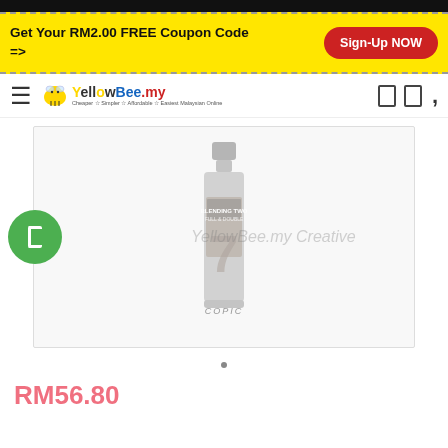Get Your RM2.00 FREE Coupon Code =>
Sign-Up NOW
[Figure (logo): YellowBee.my logo with bee icon and tagline]
[Figure (photo): Product bottle - COPIC Blending Two bottle with number 7, watermark: YellowBee.my Creative]
RM56.80